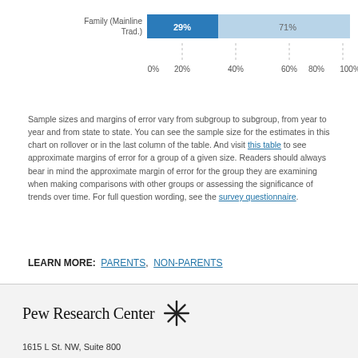[Figure (stacked-bar-chart): ]
Sample sizes and margins of error vary from subgroup to subgroup, from year to year and from state to state. You can see the sample size for the estimates in this chart on rollover or in the last column of the table. And visit this table to see approximate margins of error for a group of a given size. Readers should always bear in mind the approximate margin of error for the group they are examining when making comparisons with other groups or assessing the significance of trends over time. For full question wording, see the survey questionnaire.
LEARN MORE: PARENTS, NON-PARENTS
Pew Research Center
1615 L St. NW, Suite 800
Washington, DC 20036